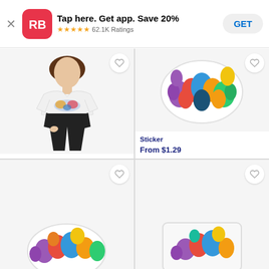[Figure (screenshot): Redbubble app banner: RB logo, 'Tap here. Get app. Save 20%', 5-star rating 62.1K Ratings, GET button]
[Figure (photo): Woman wearing relaxed fit white t-shirt with colorful character graphic print]
Relaxed Fit T-Shirt
$24.86
[Figure (illustration): Sticker product showing colorful group of characters on white sticker]
Sticker
From $1.29
[Figure (illustration): Bottom-left product partially visible: sticker with colorful characters]
[Figure (illustration): Bottom-right product partially visible: card-style product with colorful characters]